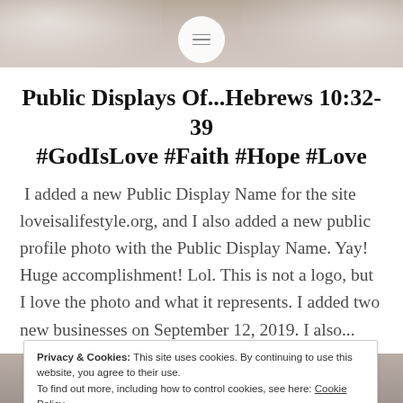[Figure (photo): Top banner photo with floral/decorative background in muted taupe tones, with a circular menu icon overlay in the center]
Public Displays Of...Hebrews 10:32-39 #GodIsLove #Faith #Hope #Love
I added a new Public Display Name for the site loveisalifestyle.org, and I also added a new public profile photo with the Public Display Name. Yay! Huge accomplishment! Lol. This is not a logo, but I love the photo and what it represents. I added two new businesses on September 12, 2019. I also...
Privacy & Cookies: This site uses cookies. By continuing to use this website, you agree to their use.
To find out more, including how to control cookies, see here: Cookie Policy
Close and accept
[Figure (photo): Bottom strip showing partial decorative text/logo in light tones against a taupe background]